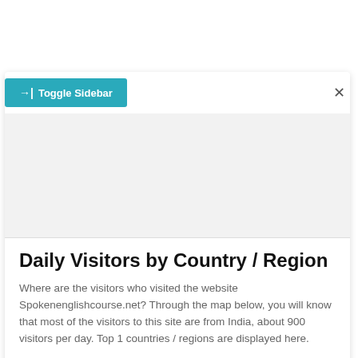[Figure (screenshot): Toggle Sidebar button in teal/cyan color with arrow icon and an X close button on the right side]
Daily Visitors by Country / Region
Where are the visitors who visited the website Spokenenglishcourse.net? Through the map below, you will know that most of the visitors to this site are from India, about 900 visitors per day. Top 1 countries / regions are displayed here.